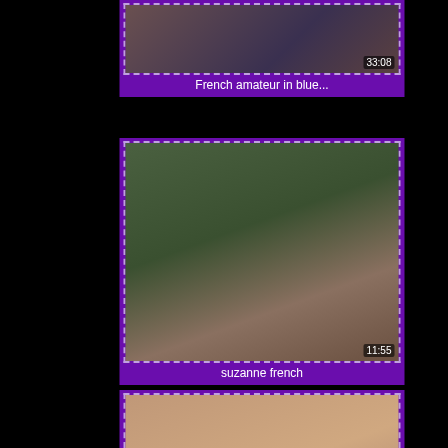[Figure (screenshot): Video thumbnail for 'French amateur in blue...' with duration 33:08]
French amateur in blue...
[Figure (screenshot): Video thumbnail for 'suzanne french' with duration 11:55]
suzanne french
[Figure (screenshot): Video thumbnail for 'Vintage french porn scene -...' with duration 5:44]
Vintage french porn scene -...